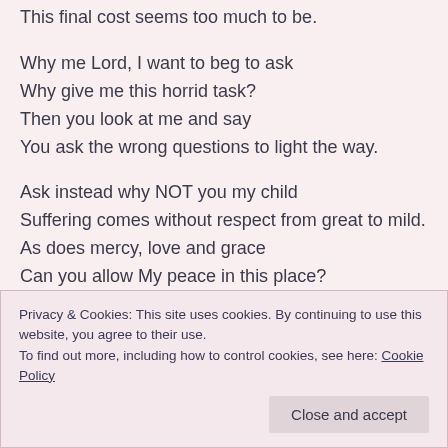This final cost seems too much to be.
Why me Lord, I want to beg to ask
Why give me this horrid task?
Then you look at me and say
You ask the wrong questions to light the way.
Ask instead why NOT you my child
Suffering comes without respect from great to mild.
As does mercy, love and grace
Can you allow My peace in this place?
I mourn a bit the things I've lost
Then remember Your complete cost.
Tomorrow morning the sun may rise
Turn my ears now from Satan's lies.
Privacy & Cookies: This site uses cookies. By continuing to use this website, you agree to their use.
To find out more, including how to control cookies, see here: Cookie Policy
Close and accept